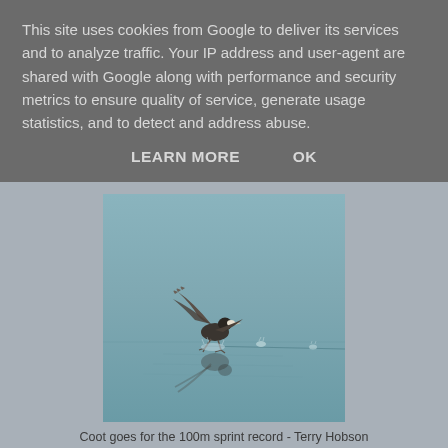This site uses cookies from Google to deliver its services and to analyze traffic. Your IP address and user-agent are shared with Google along with performance and security metrics to ensure quality of service, generate usage statistics, and to detect and address abuse.
LEARN MORE    OK
[Figure (photo): A coot bird with wings spread taking off from calm water, with its reflection visible below and small water splashes in the background, captured on a misty blue-grey water surface.]
Coot goes for the 100m sprint record - Terry Hobson